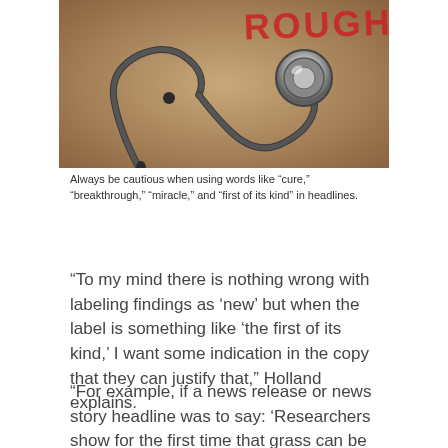[Figure (photo): A stethoscope lying on a tan/brown surface with red stamped text 'ROUGH' partially visible in the upper right corner. The photo has a warm, beige-brown tonal quality.]
Always be cautious when using words like "cure," "breakthrough," "miracle," and "first of its kind" in headlines.
“To my mind there is nothing wrong with labeling findings as ‘new’ but when the label is something like ‘the first of its kind,’ I want some indication in the copy that they can justify that,” Holland explains.
“For example, if a news release or news story headline was to say: ‘Researchers show for the first time that grass can be grown downward,’ it needs to be followed up with a statement